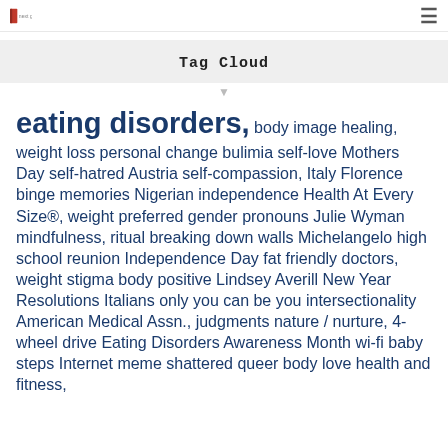next generations (logo/header)
Tag Cloud
eating disorders, body image healing, weight loss personal change bulimia self-love Mothers Day self-hatred Austria self-compassion, Italy Florence binge memories Nigerian independence Health At Every Size®, weight preferred gender pronouns Julie Wyman mindfulness, ritual breaking down walls Michelangelo high school reunion Independence Day fat friendly doctors, weight stigma body positive Lindsey Averill New Year Resolutions Italians only you can be you intersectionality American Medical Assn., judgments nature / nurture, 4-wheel drive Eating Disorders Awareness Month wi-fi baby steps Internet meme shattered queer body love health and fitness,